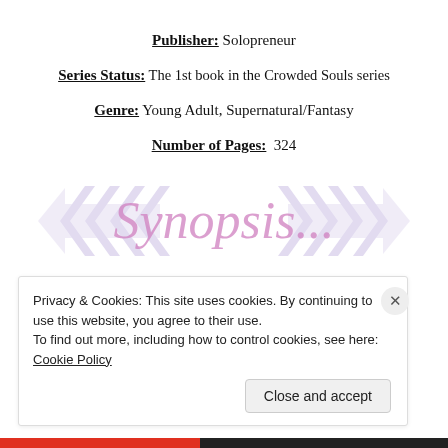Publisher: Solopreneur
Series Status: The 1st book in the Crowded Souls series
Genre: Young Adult, Supernatural/Fantasy
Number of Pages: 324
[Figure (illustration): Decorative banner with chevron arrows on left and right, and cursive pink text reading 'Synopsis...' in the center]
Privacy & Cookies: This site uses cookies. By continuing to use this website, you agree to their use. To find out more, including how to control cookies, see here: Cookie Policy